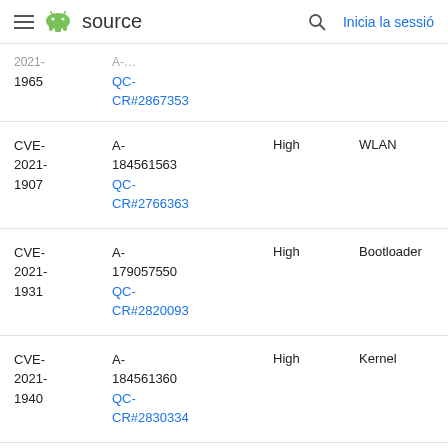≡  source   🔍  Inicia la sessió
| CVE | References | Severity | Component |
| --- | --- | --- | --- |
| CVE-2021-1965 | A-...
QC-CR#2867353 |  |  |
| CVE-2021-1907 | A-184561563
QC-CR#2766363 | High | WLAN |
| CVE-2021-1931 | A-179057550
QC-CR#2820093 | High | Bootloader |
| CVE-2021-1940 | A-184561360
QC-CR#2830334 | High | Kernel |